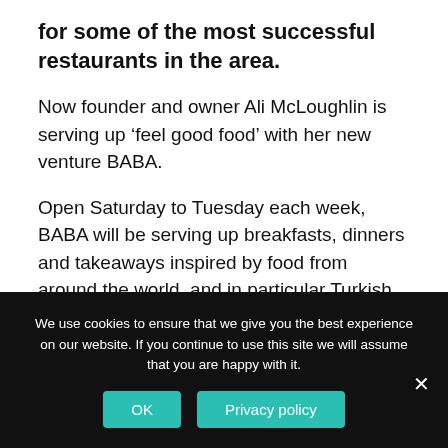for some of the most successful restaurants in the area.
Now founder and owner Ali McLoughlin is serving up ‘feel good food’ with her new venture BABA.
Open Saturday to Tuesday each week, BABA will be serving up breakfasts, dinners and takeaways inspired by food from around the world, and in particular Turkish, Greek and Moroccan cuisine.
Ali first launched Dottie Kitchen in Lyme Regis eight years and went on to open The Pop Up Kitchen,
We use cookies to ensure that we give you the best experience on our website. If you continue to use this site we will assume that you are happy with it.